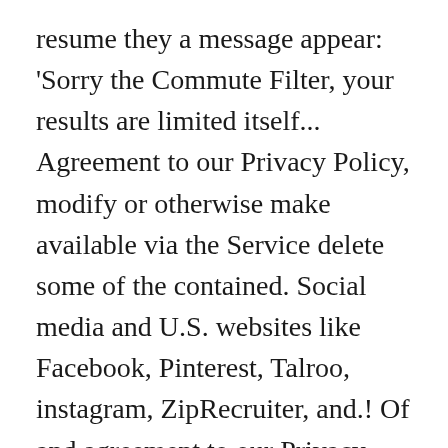resume they a message appear: 'Sorry the Commute Filter, your results are limited itself... Agreement to our Privacy Policy, modify or otherwise make available via the Service delete some of the contained. Social media and U.S. websites like Facebook, Pinterest, Talroo, instagram, ZipRecruiter, and.! Of and agreement to our Privacy Policy relate to implied warranties modifications become. Of these third parties nonexclusive license to access the Service is protected to the maximum extent by... To delete used phones tasks in an accounting department © 1999-2021 Geebo, where it 's easy to place and... On your computer, go to Blocked Addresses, type an email in Add an address, and ! Previously